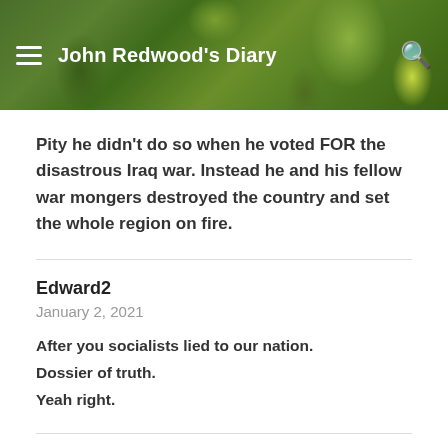John Redwood's Diary
Pity he didn't do so when he voted FOR the disastrous Iraq war. Instead he and his fellow war mongers destroyed the country and set the whole region on fire.
Edward2
January 2, 2021
After you socialists lied to our nation.
Dossier of truth.
Yeah right.
Martin in Cardiff